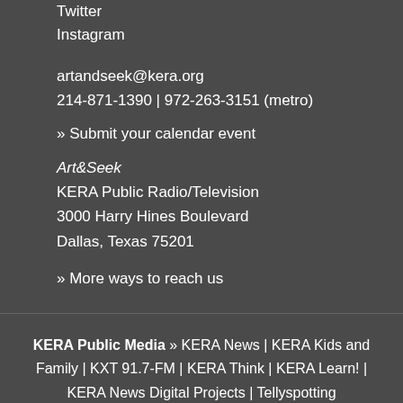Twitter
Instagram
artandseek@kera.org
214-871-1390  |  972-263-3151 (metro)
» Submit your calendar event
Art&Seek
KERA Public Radio/Television
3000 Harry Hines Boulevard
Dallas, Texas 75201
» More ways to reach us
KERA Public Media » KERA News | KERA Kids and Family | KXT 91.7-FM | KERA Think | KERA Learn! | KERA News Digital Projects | Tellyspotting